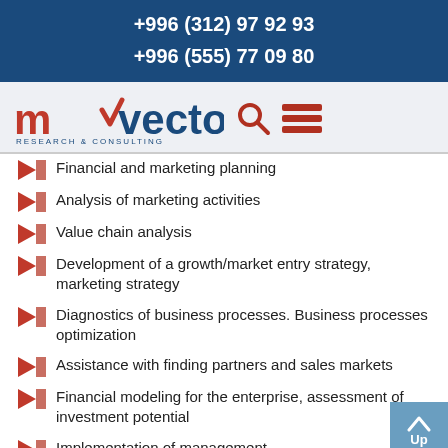+996 (312) 97 92 93
+996 (555) 77 09 80
[Figure (logo): m-vector Research & Consulting logo with search and menu icons]
Financial and marketing planning
Analysis of marketing activities
Value chain analysis
Development of a growth/market entry strategy, marketing strategy
Diagnostics of business processes. Business processes optimization
Assistance with finding partners and sales markets
Financial modeling for the enterprise, assessment of investment potential
Implementation of management...